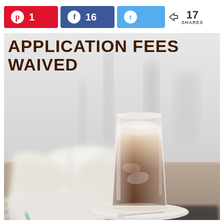Pinterest 1  Facebook 16  Twitter  < 17 SHARES
APPLICATION FEES WAIVED
[Figure (photo): A iced coffee/latte in a clear glass on a saucer with a spoon, sitting on a wooden table. In the background is an open book and a spiral notebook with a pen, and a blurred cityscape through a foggy window. Text overlay reads APPLICATION FEES WAIVED.]